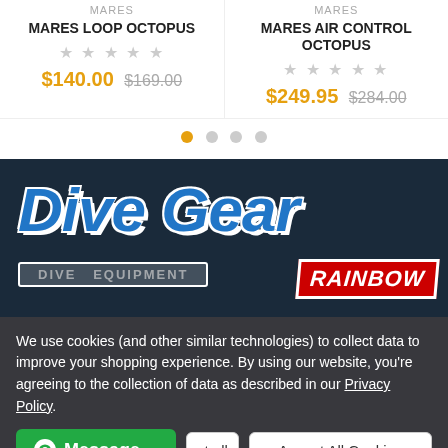MARES
MARES LOOP OCTOPUS
★ ★ ★ ★ ★
$140.00  $169.00
MARES
MARES AIR CONTROL OCTOPUS
★ ★ ★ ★ ★
$249.95  $284.00
[Figure (screenshot): Pagination dots, first dot active (orange), three grey dots]
[Figure (logo): Dive Gear logo in bold blue italic text on dark navy background, with a glowing white bar and a Rainbow badge in red]
We use cookies (and other similar technologies) to collect data to improve your shopping experience. By using our website, you're agreeing to the collection of data as described in our Privacy Policy.
Message   ct all   Accept All Cookies